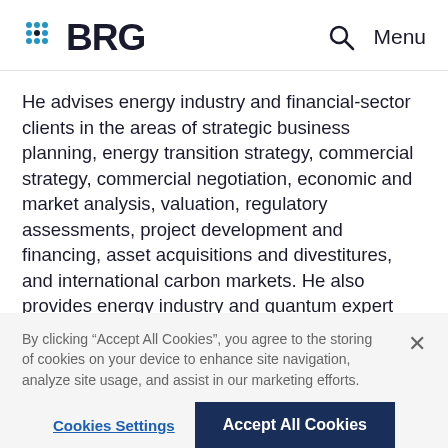BRG | Menu
He advises energy industry and financial-sector clients in the areas of strategic business planning, energy transition strategy, commercial strategy, commercial negotiation, economic and market analysis, valuation, regulatory assessments, project development and financing, asset acquisitions and divestitures, and international carbon markets. He also provides energy industry and quantum expert analysis and testimony for international energy arbitration and litigation matters for law firms and
By clicking “Accept All Cookies”, you agree to the storing of cookies on your device to enhance site navigation, analyze site usage, and assist in our marketing efforts.
Cookies Settings | Accept All Cookies